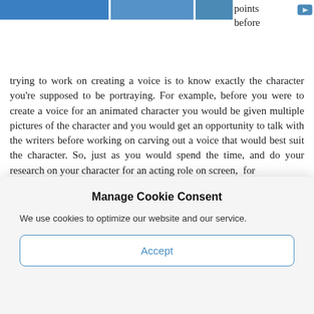[Figure (photo): Partial image strip showing three blue-toned photo segments at the top of the page]
points before trying to work on creating a voice is to know exactly the character you're supposed to be portraying. For example, before you were to create a voice for an animated character you would be given multiple pictures of the character and you would get an opportunity to talk with the writers before working on carving out a voice that would best suit the character. So, just as you would spend the time, and do your research on your character for an acting role on screen, for
Manage Cookie Consent
We use cookies to optimize our website and our service.
Accept